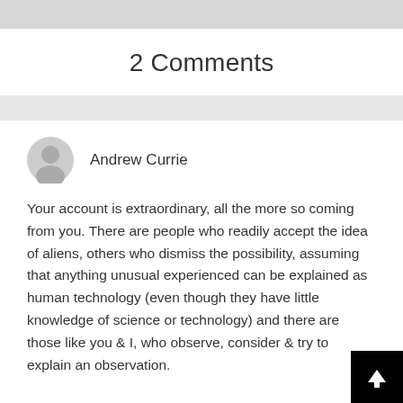2 Comments
[Figure (illustration): User avatar icon — circular gray silhouette of a person]
Andrew Currie
Your account is extraordinary, all the more so coming from you. There are people who readily accept the idea of aliens, others who dismiss the possibility, assuming that anything unusual experienced can be explained as human technology (even though they have little knowledge of science or technology) and there are those like you & I, who observe, consider & try to explain an observation.